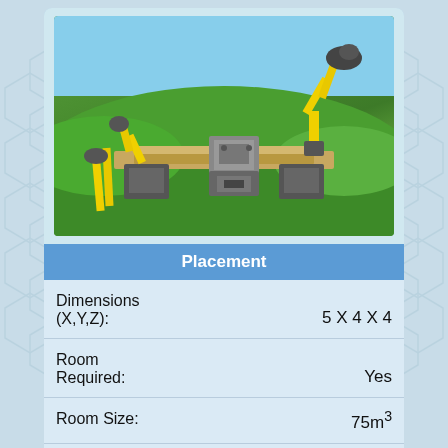[Figure (illustration): 3D game rendering of an industrial manufacturing machine with robotic arms, yellow structural components, and a grey base platform on a green terrain background]
Placement
| Property | Value |
| --- | --- |
| Dimensions (X,Y,Z): | 5 X 4 X 4 |
| Room Required: | Yes |
| Room Size: | 75m³ |
| Room Materials: | Tier 2.8 |
Housing